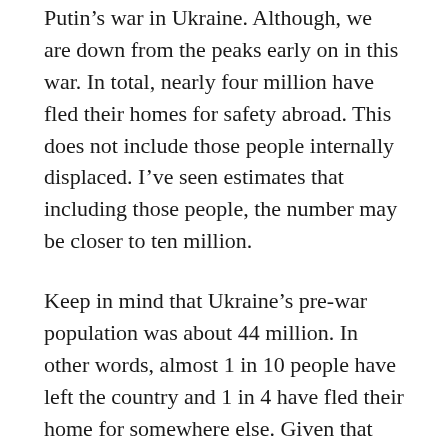Putin’s war in Ukraine. Although, we are down from the peaks early on in this war. In total, nearly four million have fled their homes for safety abroad. This does not include those people internally displaced. I’ve seen estimates that including those people, the number may be closer to ten million.
Keep in mind that Ukraine’s pre-war population was about 44 million. In other words, almost 1 in 10 people have left the country and 1 in 4 have fled their home for somewhere else. Given that most men are prohibited from fleeing the country, we also know that half of all Ukrainian children have fled their homes.